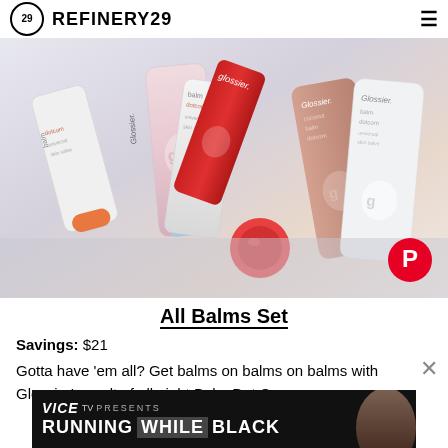REFINERY29
[Figure (photo): Collection of Glossier Balm Dotcom lip balm tubes in various colors (clear/pink, red, rose gold, coconut, and others) arranged in a flat lay product photo with a Pinterest share button overlay]
All Balms Set
Savings: $21
Gotta have 'em all? Get balms on balms on balms with Glossier's vault of all eight Balm Dot Coms.
[Figure (screenshot): VICE TV PRESENTS RUNNING WHILE BLACK advertisement banner at the bottom of the page]